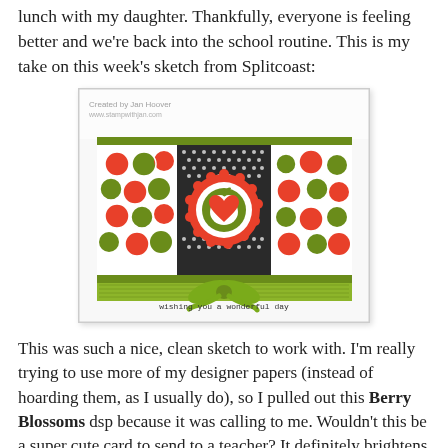lunch with my daughter. Thankfully, everyone is feeling better and we're back into the school routine. This is my take on this week's sketch from Splitcoast:
[Figure (photo): A handmade greeting card with apple-themed patterned paper in red and green, featuring a decorative flower/scallop embellishment in the center with a layered apple and heart design, a green ribbon tied in a bow across the bottom, and the sentiment 'wishing you a wonderful day' in the lower right corner. The card is displayed on a white background.]
This was such a nice, clean sketch to work with. I'm really trying to use more of my designer papers (instead of hoarding them, as I usually do), so I pulled out this Berry Blossoms dsp because it was calling to me. Wouldn't this be a super cute card to send to a teacher? It definitely brightens up my day, and I hope it puts a smile on your face, too. See you soon!